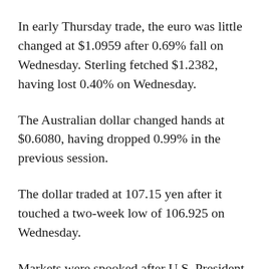In early Thursday trade, the euro was little changed at $1.0959 after 0.69% fall on Wednesday. Sterling fetched $1.2382, having lost 0.40% on Wednesday.
The Australian dollar changed hands at $0.6080, having dropped 0.99% in the previous session.
The dollar traded at 107.15 yen after it touched a two-week low of 106.925 on Wednesday.
Markets were spooked after U.S. President Donald Trump’s dire press briefing late Tuesday, in which he warned Americans of a “painful” two weeks ahead in fighting the coronavirus even with strict social distancing measures.